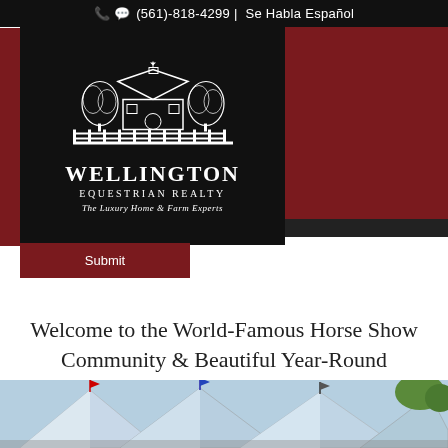(561)-818-4299 | Se Habla Español
[Figure (logo): Wellington Equestrian Realty logo with illustrated barn/house and trees on black background. Text: WELLINGTON EQUESTRIAN REALTY - The Luxury Home & Farm Experts]
Submit
Welcome to the World-Famous Horse Show Community & Beautiful Year-Round Weather of Wellington, Florida
[Figure (photo): Outdoor horse show venue with large blue and white striped tents, flags, and crowds in sunny Florida weather]